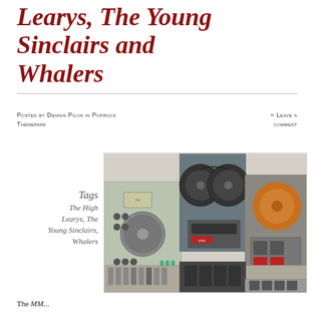Learys, The Young Sinclairs and Whalers
Posted by Dennis Pilon in Poprock Themepark
≈ Leave a comment
Tags
The High Learys, The Young Sinclairs, Whalers
[Figure (photo): Vintage recording studio equipment including reel-to-reel tape machines, mixing console, and audio equipment panels]
The MM...